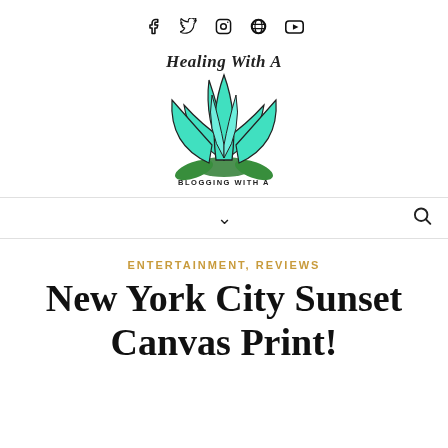Social media icons: Facebook, Twitter, Instagram, Pinterest, YouTube
[Figure (logo): Healing With A blog logo — teal lotus flower with cursive text 'Healing With A' above and 'BLOGGING WITH A' below]
[Figure (other): Navigation bar with dropdown chevron and search icon]
ENTERTAINMENT, REVIEWS
New York City Sunset Canvas Print!